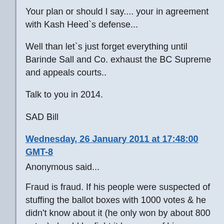Your plan or should I say.... your in agreement with Kash Heed`s defense...
Well than let`s just forget everything until Barinde Sall and Co. exhaust the BC Supreme and appeals courts..
Talk to you in 2014.
SAD Bill
Wednesday, 26 January 2011 at 17:48:00 GMT-8
Anonymous said...
Fraud is fraud. If his people were suspected of stuffing the ballot boxes with 1000 votes & he didn't know about it (he only won by about 800 votes) should he fight it because of his innocence? How about over spending by $10,0002 $100,0002 Where is the line Bill?